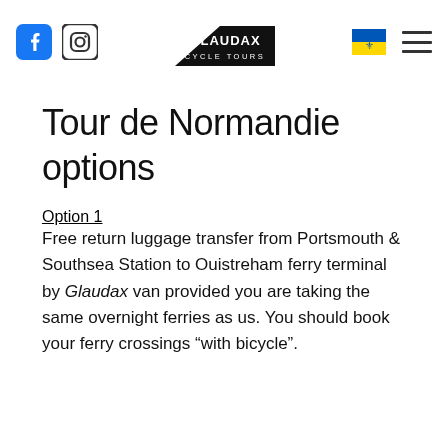[Figure (logo): Glaudax Cycle Tours website header with Facebook icon, Instagram icon, Glaudax Cycle Tours logo (black triangle with text), Ukraine flag, and hamburger menu icon]
Tour de Normandie options
Option 1
Free return luggage transfer from Portsmouth & Southsea Station to Ouistreham ferry terminal by Glaudax van provided you are taking the same overnight ferries as us. You should book your ferry crossings “with bicycle”.